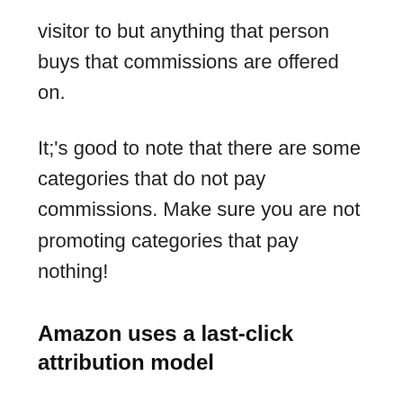visitor to but anything that person buys that commissions are offered on.
It;'s good to note that there are some categories that do not pay commissions. Make sure you are not promoting categories that pay nothing!
Amazon uses a last-click attribution model
Sometimes a web user clicked on somebody else's affiliate link first, then clicks on your link. Who gets the commission? The first affiliate or last affiliate? The answer is that the last affiliate whose link was clicked gets the commission. This is called last-